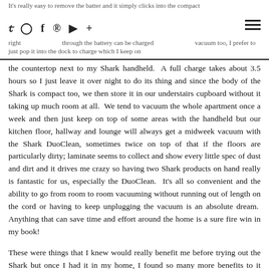It's really easy to remove the batter and it simply clicks into the compact right through the battery can be charged vacuum too. I prefer to just pop it into the dock to charge which I keep on
the countertop next to my Shark handheld.  A full charge takes about 3.5 hours so I just leave it over night to do its thing and since the body of the Shark is compact too, we then store it in our understairs cupboard without it taking up much room at all.  We tend to vacuum the whole apartment once a week and then just keep on top of some areas with the handheld but our kitchen floor, hallway and lounge will always get a midweek vacuum with the Shark DuoClean, sometimes twice on top of that if the floors are particularly dirty; laminate seems to collect and show every little spec of dust and dirt and it drives me crazy so having two Shark products on hand really is fantastic for us, especially the DuoClean.  It's all so convenient and the ability to go from room to room vacuuming without running out of length on the cord or having to keep unplugging the vacuum is an absolute dream.  Anything that can save time and effort around the home is a sure fire win in my book!
These were things that I knew would really benefit me before trying out the Shark but once I had it in my home, I found so many more benefits to it including how lightweight it is.  I have some nerve damage from my neck down into my arms and a protruding disc in my neck following an accident